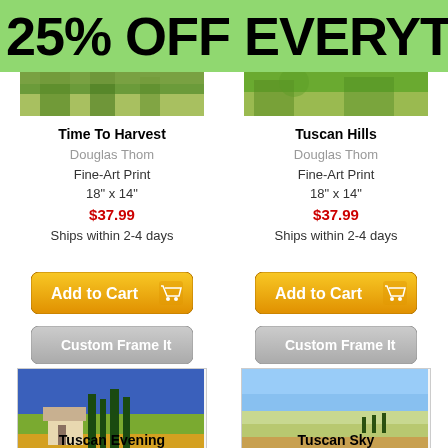25% OFF EVERYTH
[Figure (photo): Partial top of a Tuscan landscape painting - Time To Harvest by Douglas Thom]
[Figure (photo): Partial top of a Tuscan landscape painting - Tuscan Hills by Douglas Thom]
Time To Harvest
Douglas Thom
Fine-Art Print
18" x 14"
$37.99
Ships within 2-4 days
Tuscan Hills
Douglas Thom
Fine-Art Print
18" x 14"
$37.99
Ships within 2-4 days
[Figure (illustration): Add to Cart button with shopping cart icon]
[Figure (illustration): Add to Cart button with shopping cart icon]
[Figure (illustration): Custom Frame It grey button]
[Figure (illustration): Custom Frame It grey button]
[Figure (photo): Tuscan Evening artwork - Tuscan villa with cypress trees and golden fields]
[Figure (photo): Tuscan Sky artwork - rolling Tuscan hills under blue sky]
Tuscan Evening
Tuscan Sky